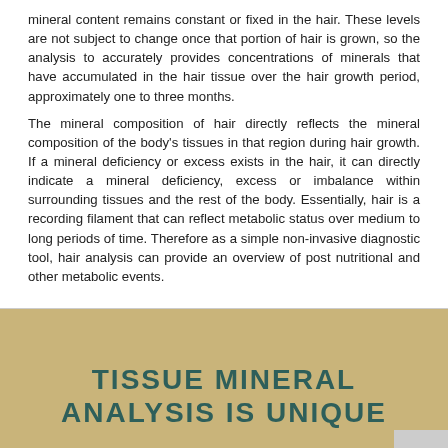mineral content remains constant or fixed in the hair. These levels are not subject to change once that portion of hair is grown, so the analysis to accurately provides concentrations of minerals that have accumulated in the hair tissue over the hair growth period, approximately one to three months.
The mineral composition of hair directly reflects the mineral composition of the body's tissues in that region during hair growth. If a mineral deficiency or excess exists in the hair, it can directly indicate a mineral deficiency, excess or imbalance within surrounding tissues and the rest of the body. Essentially, hair is a recording filament that can reflect metabolic status over medium to long periods of time. Therefore as a simple non-invasive diagnostic tool, hair analysis can provide an overview of post nutritional and other metabolic events.
TISSUE MINERAL ANALYSIS IS UNIQUE